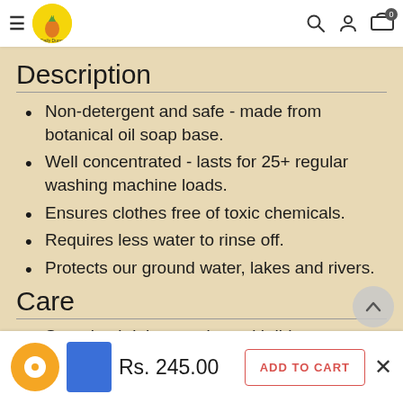Daily Dump navigation bar with logo, hamburger menu, search, account, and cart icons
Description
Non-detergent and safe - made from botanical oil soap base.
Well concentrated - lasts for 25+ regular washing machine loads.
Ensures clothes free of toxic chemicals.
Requires less water to rinse off.
Protects our ground water, lakes and rivers.
Care
Store in airtight container with lid.
Rs. 245.00  ADD TO CART